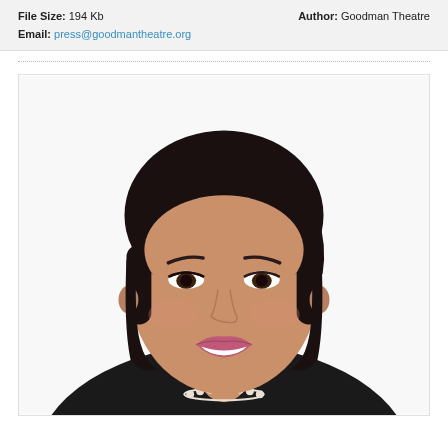File Size: 194 Kb    Author: Goodman Theatre
Email: press@goodmantheatre.org
[Figure (photo): Professional headshot portrait of an Asian woman with short dark hair, pearl necklace, wearing a dark jacket, smiling, white background.]